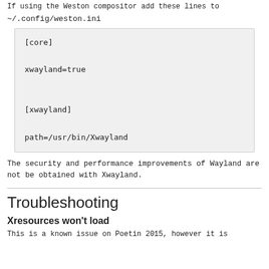If using the Weston compositor add these lines to
~/.config/weston.ini
[core]

xwayland=true


[xwayland]

path=/usr/bin/Xwayland
The security and performance improvements of Wayland are not be obtained with Xwayland.
Troubleshooting
Xresources won't load
This is a known issue on Poetin 2015, however it is